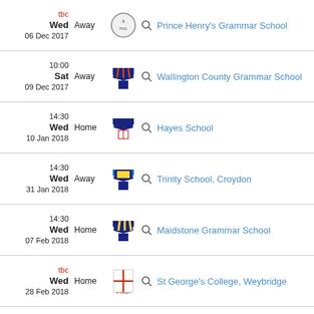tbc Wed Away 06 Dec 2017 Prince Henry's Grammar School
10:00 Sat Away 09 Dec 2017 Wallington County Grammar School
14:30 Wed Home 10 Jan 2018 Hayes School
14:30 Wed Away 31 Jan 2018 Trinity School, Croydon
14:30 Wed Home 07 Feb 2018 Maidstone Grammar School
tbc Wed Home 28 Feb 2018 St George's College, Weybridge